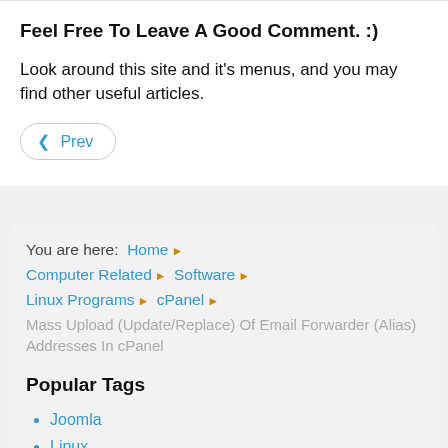Feel Free To Leave A Good Comment. :)
Look around this site and it's menus, and you may find other useful articles.
◀ Prev
You are here: Home ▶ Computer Related ▶ Software ▶ Linux Programs ▶ cPanel ▶ Mass Upload (Update/Replace) Of Email Forwarder (Alias) Addresses In cPanel
Popular Tags
Joomla
Linux
Firefox